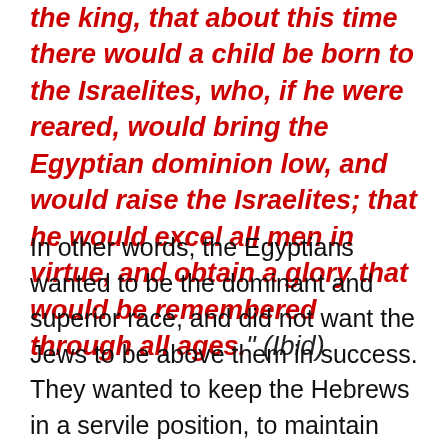the king, that about this time there would a child be born to the Israelites, who, if he were reared, would bring the Egyptian dominion low, and would raise the Israelites; that he would excel all men in virtue, and obtain a glory that would be remembered through all ages." (Ibid)
In other words, the Egyptians wanted to be the dominant and superior race, and did not want the Jews to be above them in success. They wanted to keep the Hebrews in a servile position, to maintain Egyptian domination. The Egyptians wanted to kill those they deemed as undesirables, and Moses was their savior. Moses' liberation of the Hebrews was a foreshadowing of Christ and His redemption